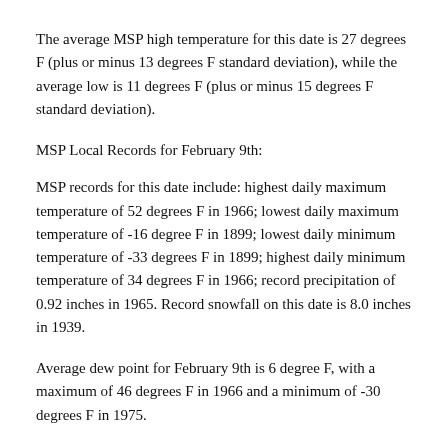The average MSP high temperature for this date is 27 degrees F (plus or minus 13 degrees F standard deviation), while the average low is 11 degrees F (plus or minus 15 degrees F standard deviation).
MSP Local Records for February 9th:
MSP records for this date include: highest daily maximum temperature of 52 degrees F in 1966; lowest daily maximum temperature of -16 degree F in 1899; lowest daily minimum temperature of -33 degrees F in 1899; highest daily minimum temperature of 34 degrees F in 1966; record precipitation of 0.92 inches in 1965. Record snowfall on this date is 8.0 inches in 1939.
Average dew point for February 9th is 6 degree F, with a maximum of 46 degrees F in 1966 and a minimum of -30 degrees F in 1975.
All-time state records for February 9th: